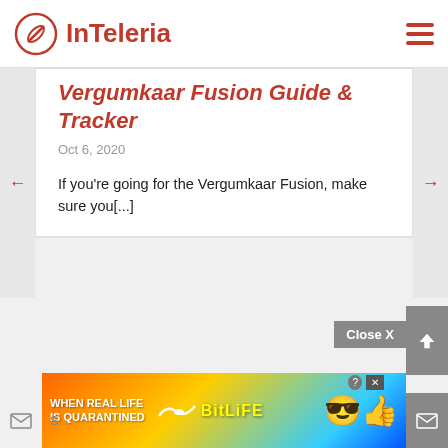InTeleria
Vergumkaar Fusion Guide & Tracker
Oct 6, 2020
If you're going for the Vergumkaar Fusion, make sure you[...]
[Figure (screenshot): Advertisement banner: BitLife 'When Real Life Is Quarantined' ad with colorful rainbow background and emoji characters]